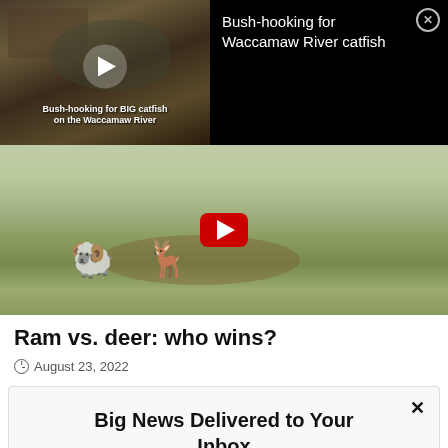[Figure (screenshot): Video popup overlay with dark background showing catfish thumbnail on left and title 'Bush-hooking for Waccamaw River catfish' on right with close button]
[Figure (screenshot): YouTube video thumbnail showing animals (ram and deer) on grass field with YouTube play button overlay]
Ram vs. deer: who wins?
August 23, 2022
Big News Delivered to Your Inbox